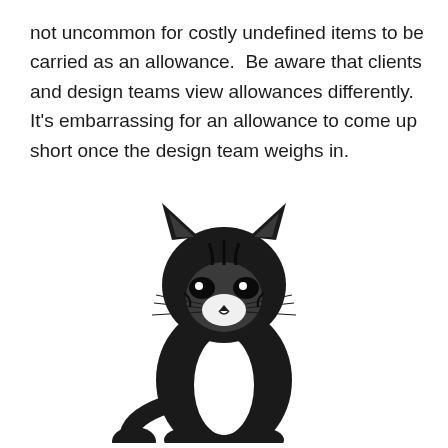not uncommon for costly undefined items to be carried as an allowance.  Be aware that clients and design teams view allowances differently.  It's embarrassing for an allowance to come up short once the design team weighs in.
[Figure (illustration): Black and white illustration of a sitting kitten facing forward, rendered in a high-contrast stamp/woodcut style.]